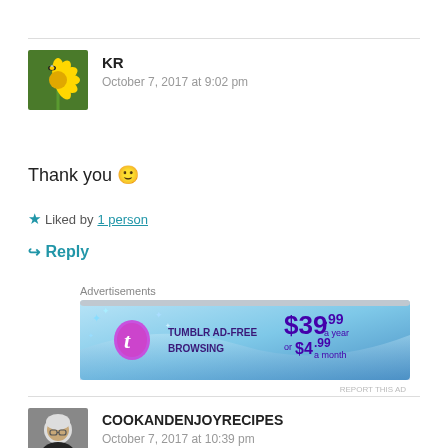[Figure (photo): Avatar image of KR commenter showing a yellow dandelion flower with a bee on it against green background]
KR
October 7, 2017 at 9:02 pm
Thank you 🙂
★ Liked by 1 person
↪ Reply
Advertisements
[Figure (screenshot): Tumblr ad banner: TUMBLR AD-FREE BROWSING $39.99 a year or $4.99 a month]
[Figure (photo): Avatar image of COOKANDENJOYRECIPES commenter showing a woman with glasses]
COOKANDENJOYRECIPES
October 7, 2017 at 10:39 pm